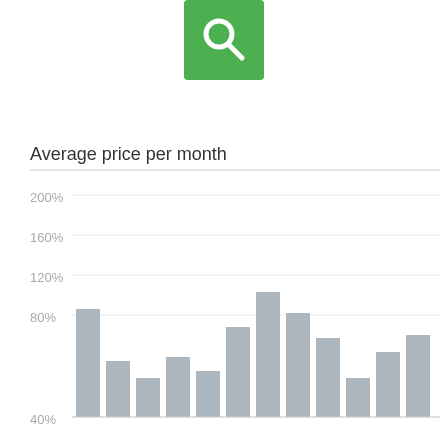[Figure (logo): Green square button with white magnifying glass search icon]
[Figure (bar-chart): Average price per month]